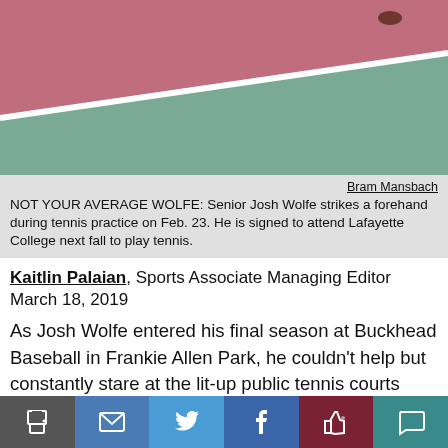[Figure (photo): Tennis court photo showing pink/red and green court surfaces with a white line, viewed from above at an angle. A small dark object (likely a ball) is visible near the top right.]
Bram Mansbach
NOT YOUR AVERAGE WOLFE: Senior Josh Wolfe strikes a forehand during tennis practice on Feb. 23. He is signed to attend Lafayette College next fall to play tennis.
Kaitlin Palaian, Sports Associate Managing Editor
March 18, 2019
As Josh Wolfe entered his final season at Buckhead Baseball in Frankie Allen Park, he couldn't help but constantly stare at the lit-up public tennis courts adjacent to the baseball stadium. Consequently, the 12-year-old made the full-time commitment to focus solely on tennis.